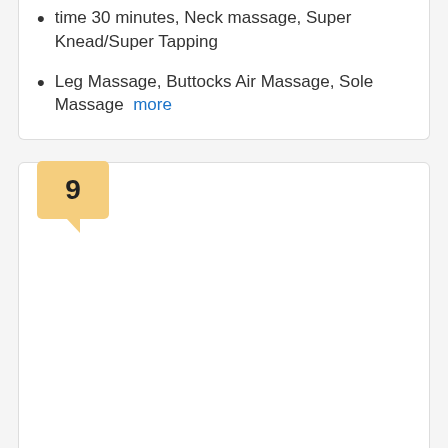time 30 minutes, Neck massage, Super Knead/Super Tapping
Leg Massage, Buttocks Air Massage, Sole Massage  more
9